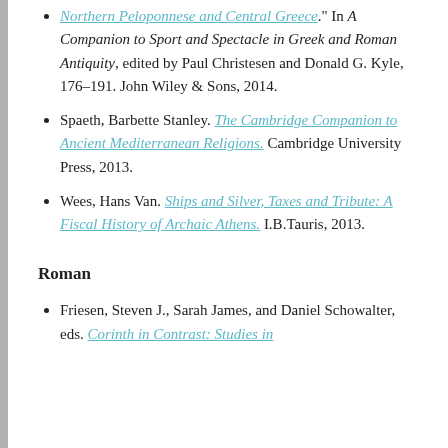Northern Peloponnese and Central Greece." In A Companion to Sport and Spectacle in Greek and Roman Antiquity, edited by Paul Christesen and Donald G. Kyle, 176–191. John Wiley & Sons, 2014.
Spaeth, Barbette Stanley. The Cambridge Companion to Ancient Mediterranean Religions. Cambridge University Press, 2013.
Wees, Hans Van. Ships and Silver, Taxes and Tribute: A Fiscal History of Archaic Athens. I.B.Tauris, 2013.
Roman
Friesen, Steven J., Sarah James, and Daniel Schowalter, eds. Corinth in Contrast: Studies in